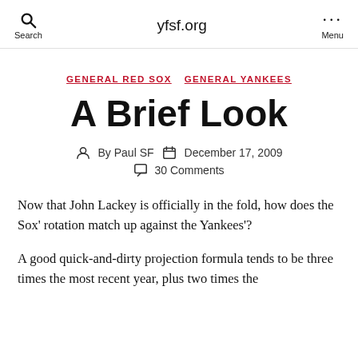yfsf.org
GENERAL RED SOX   GENERAL YANKEES
A Brief Look
By Paul SF   December 17, 2009
30 Comments
Now that John Lackey is officially in the fold, how does the Sox' rotation match up against the Yankees'?
A good quick-and-dirty projection formula tends to be three times the most recent year, plus two times the previous year, plus the year before that, divided by six.